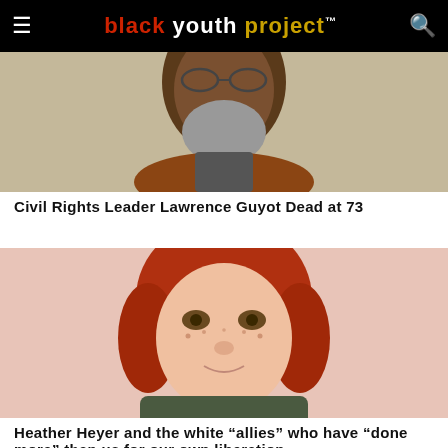black youth project
[Figure (photo): Close-up photo of an older Black man with a gray beard and glasses, wearing a brown jacket.]
Civil Rights Leader Lawrence Guyot Dead at 73
[Figure (photo): Close-up photo of a young white woman with red curly hair, hazel eyes, and freckles, smiling slightly.]
Heather Heyer and the white “allies” who have “done more” than us for our own liberation